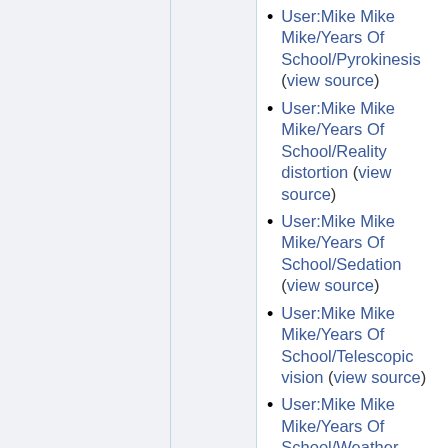User:Mike Mike Mike/Years Of School/Pyrokinesis (view source)
User:Mike Mike Mike/Years Of School/Reality distortion (view source)
User:Mike Mike Mike/Years Of School/Sedation (view source)
User:Mike Mike Mike/Years Of School/Telescopic vision (view source)
User:Mike Mike Mike/Years Of School/Weather